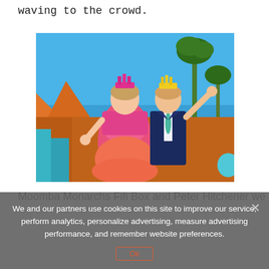waving to the crowd.
[Figure (photo): Two people wearing colorful crowns on a parade float, waving to a crowd. The woman wears a bright pink and coral gown, the man wears a dark suit with a teal tie. Blue sky and palm trees in the background.]
Moomba Monarchs Fifi Box and Peter Hitchener we
We and our partners use cookies on this site to improve our service, perform analytics, personalize advertising, measure advertising performance, and remember website preferences.